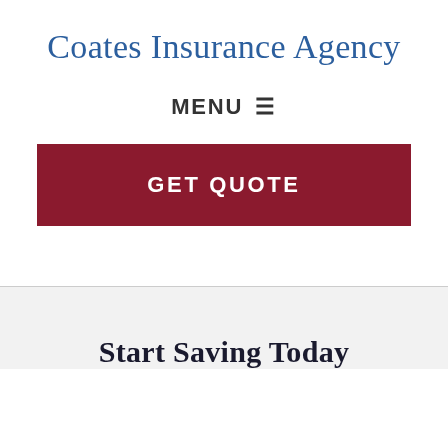Coates Insurance Agency
MENU ☰
GET QUOTE
Start Saving Today